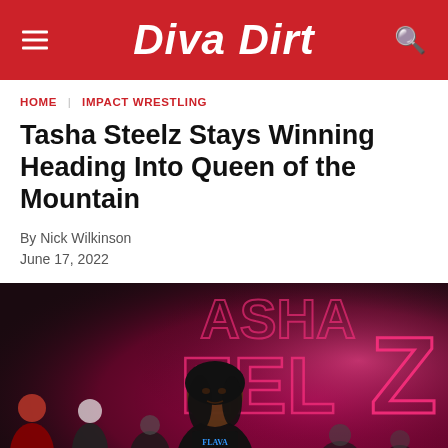DIVA DIRT
HOME | IMPACT WRESTLING
Tasha Steelz Stays Winning Heading Into Queen of the Mountain
By Nick Wilkinson
June 17, 2022
[Figure (photo): Tasha Steelz walking at a wrestling event with pink neon lighting and her name displayed in the background]